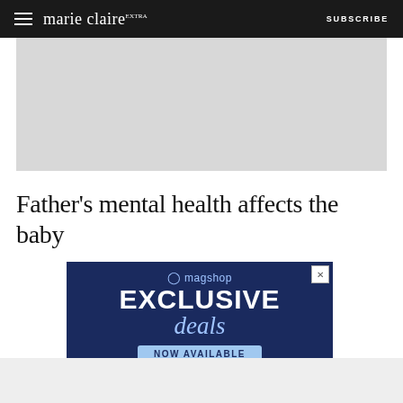marie claire — SUBSCRIBE
[Figure (other): Gray advertisement placeholder rectangle]
Father's mental health affects the baby
[Figure (other): Magshop advertisement banner with dark navy background. Text reads: magshop EXCLUSIVE deals NOW AVAILABLE]